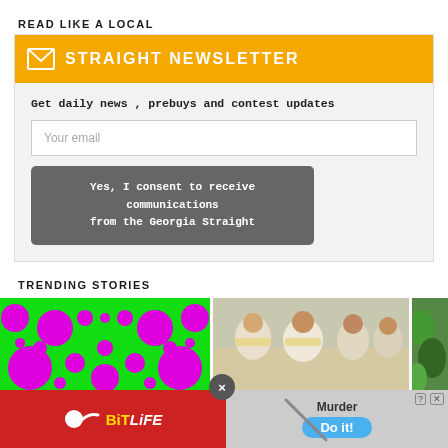READ LIKE A LOCAL
[Figure (screenshot): Newsletter signup widget with orange banner reading STRAIGHT NEWSLETTER, email input field, and consent button]
TRENDING STORIES
[Figure (photo): Psychedelic green and magenta dot pattern optical illusion image]
[Figure (photo): People in white traditional clothing seated together]
[Figure (photo): Green foliage/garden partial image]
[Figure (screenshot): Advertisement bar: BitLife app ad on left, Murder do it game ad on right with close button]